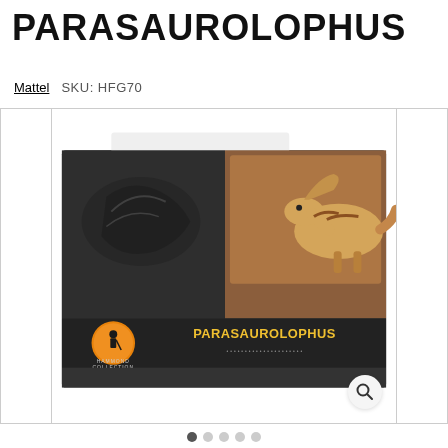PARASAUROLOPHUS
Mattel   SKU: HFG70
[Figure (photo): Product photo of Mattel Hammond Collection Parasaurolophus dinosaur figure in retail packaging. The box is dark/charcoal colored with a Jurassic Park Hammond Collection logo (circular amber image of man with cane) on the lower left. The Parasaurolophus figure is visible through a window in the upper right of the box. The name PARASAUROLOPHUS is printed in gold/yellow text on the front of the box.]